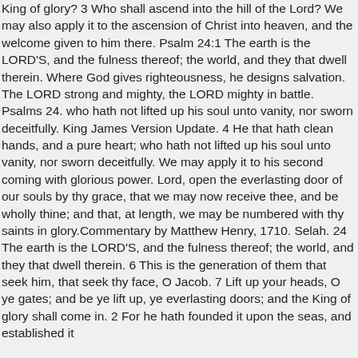King of glory? 3 Who shall ascend into the hill of the Lord? We may also apply it to the ascension of Christ into heaven, and the welcome given to him there. Psalm 24:1 The earth is the LORD'S, and the fulness thereof; the world, and they that dwell therein. Where God gives righteousness, he designs salvation. The LORD strong and mighty, the LORD mighty in battle. Psalms 24. who hath not lifted up his soul unto vanity, nor sworn deceitfully. King James Version Update. 4 He that hath clean hands, and a pure heart; who hath not lifted up his soul unto vanity, nor sworn deceitfully. We may apply it to his second coming with glorious power. Lord, open the everlasting door of our souls by thy grace, that we may now receive thee, and be wholly thine; and that, at length, we may be numbered with thy saints in glory.Commentary by Matthew Henry, 1710. Selah. 24 The earth is the LORD'S, and the fulness thereof; the world, and they that dwell therein. 6 This is the generation of them that seek him, that seek thy face, O Jacob. 7 Lift up your heads, O ye gates; and be ye lift up, ye everlasting doors; and the King of glory shall come in. 2 For he hath founded it upon the seas, and established it